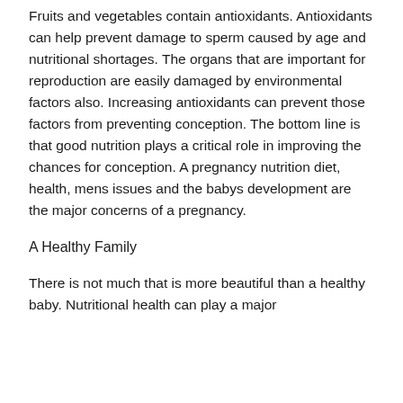Fruits and vegetables contain antioxidants. Antioxidants can help prevent damage to sperm caused by age and nutritional shortages. The organs that are important for reproduction are easily damaged by environmental factors also. Increasing antioxidants can prevent those factors from preventing conception. The bottom line is that good nutrition plays a critical role in improving the chances for conception. A pregnancy nutrition diet, health, mens issues and the babys development are the major concerns of a pregnancy.
A Healthy Family
There is not much that is more beautiful than a healthy baby. Nutritional health can play a major